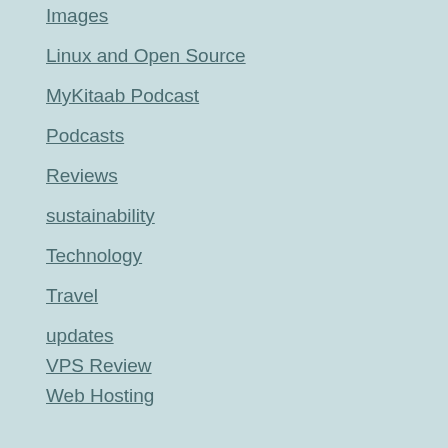Images
Linux and Open Source
MyKitaab Podcast
Podcasts
Reviews
sustainability
Technology
Travel
updates
VPS Review
Web Hosting
Writing
Follow me